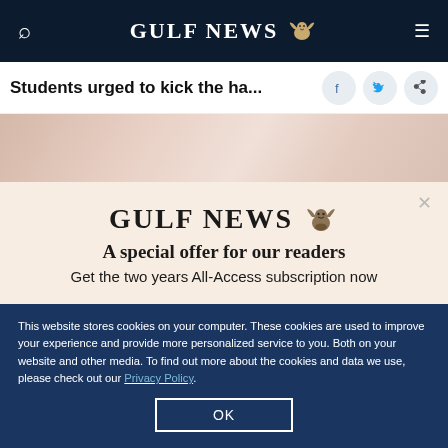GULF NEWS
Students urged to kick the ha...
[Figure (photo): Partial photo of students, cropped at top of page]
A special offer for our readers
Get the two years All-Access subscription now
This website stores cookies on your computer. These cookies are used to improve your experience and provide more personalized service to you. Both on your website and other media. To find out more about the cookies and data we use, please check out our Privacy Policy.
OK